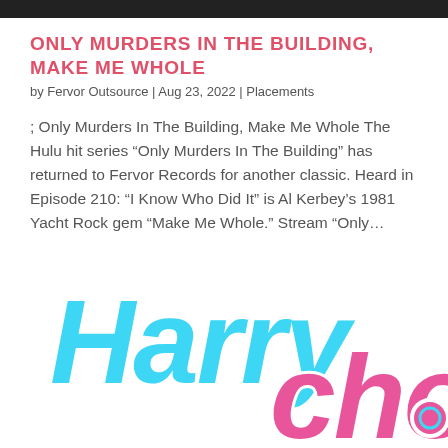ONLY MURDERS IN THE BUILDING, MAKE ME WHOLE
by Fervor Outsource | Aug 23, 2022 | Placements
; Only Murders In The Building, Make Me Whole The Hulu hit series “Only Murders In The Building” has returned to Fervor Records for another classic. Heard in Episode 210: “I Know Who Did It” is Al Kerbey’s 1981 Yacht Rock gem “Make Me Whole.” Stream “Only…
[Figure (logo): Harry Echo retro-style logo with cyan and pink bubble letters with white outlines]